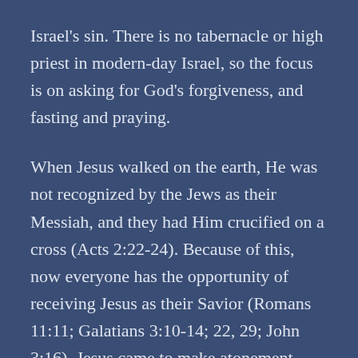Israel's sin. There is no tabernacle or high priest in modern-day Israel, so the focus is on asking for God's forgiveness, and fasting and praying.
When Jesus walked on the earth, He was not recognized by the Jews as their Messiah, and they had Him crucified on a cross (Acts 2:22-24). Because of this, now everyone has the opportunity of receiving Jesus as their Savior (Romans 11:11; Galatians 3:10-14; 22, 29; John 3:16). Jesus came to make atonement (reparation for a wrong or injury) and reconciliation or peace with God (2 Corinthians 5:18; Colossians 1:19-20). His sacrifice and death on the cross provided atonement for sin once for all; for all humankind and for all time (Hebrews 10:10).